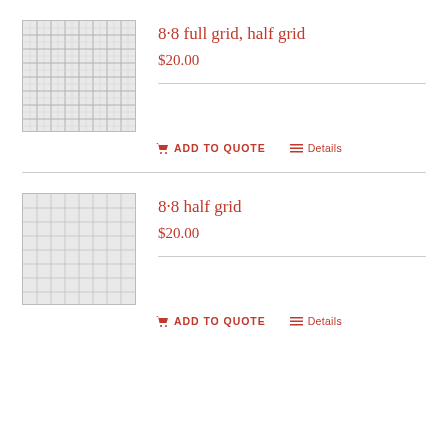[Figure (photo): Product thumbnail: grid pattern fabric/material, 8-8 full grid half grid]
8·8 full grid, half grid
$20.00
ADD TO QUOTE   Details
[Figure (photo): Product thumbnail: grid pattern fabric/material, 8-8 half grid]
8·8 half grid
$20.00
ADD TO QUOTE   Details